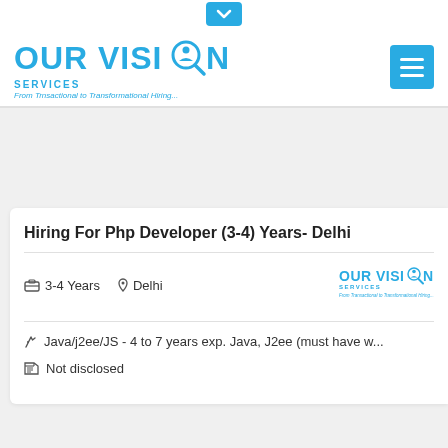[Figure (logo): Our Vision Services logo with magnifying glass icon. Blue text reading OUR VISION SERVICES, tagline: From Trnsactional to Transformational Hiring...]
Hiring For Php Developer (3-4) Years- Delhi
3-4 Years   Delhi
Java/j2ee/JS - 4 to 7 years exp. Java, J2ee (must have w...
Not disclosed